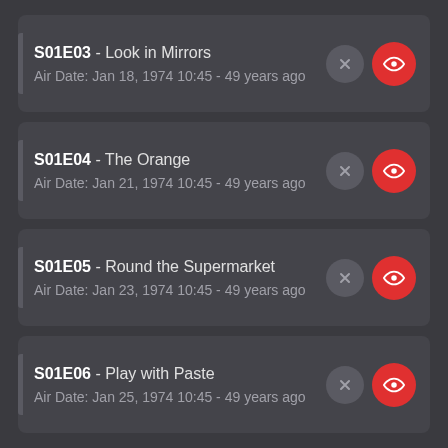S01E03 - Look in Mirrors
Air Date: Jan 18, 1974 10:45 - 49 years ago
S01E04 - The Orange
Air Date: Jan 21, 1974 10:45 - 49 years ago
S01E05 - Round the Supermarket
Air Date: Jan 23, 1974 10:45 - 49 years ago
S01E06 - Play with Paste
Air Date: Jan 25, 1974 10:45 - 49 years ago